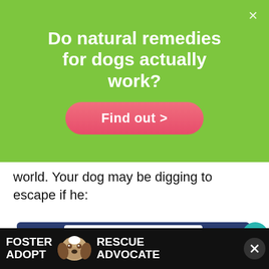[Figure (infographic): Green advertisement banner asking 'Do natural remedies for dogs actually work?' with a pink 'Find out >' button and a close X in the top-right corner]
world. Your dog may be digging to escape if he:
[Figure (infographic): Dark blue advertisement box showing 'Natural Remedies for your dog' booklet image, with social sharing buttons (heart, 605 count, share) on the right side]
[Figure (infographic): Black bottom bar advertisement: FOSTER ADOPT with dog image and RESCUE ADVOCATE text, with close X button on right]